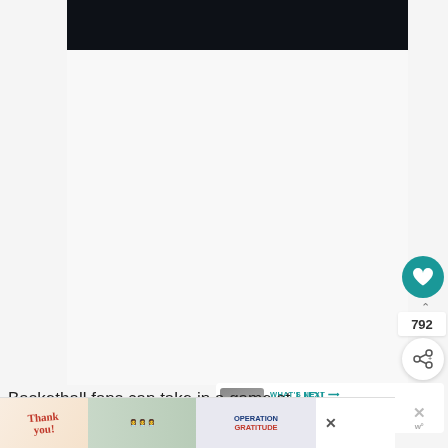[Figure (screenshot): Screenshot of a web page showing a dark video player area at top, with like/share social buttons on the right side (heart icon with 792 count, share icon), a 'WHAT'S NEXT' recommendation panel, a caption text beginning 'Basketball fans can take in a game at URI, Rhode', and an advertisement banner at the bottom with 'Thank you!' imagery and Operation Gratitude branding.]
Basketball fans can take in a game at URI, Rhode
WHAT'S NEXT → 12 Favorite Things to do...
[Figure (screenshot): Advertisement banner: Thank you! with American flag imagery, Operation Gratitude branding with medical workers holding packages]